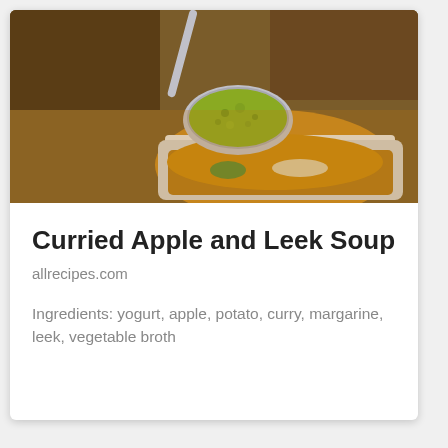[Figure (photo): Close-up photo of a spoon holding thick yellowish-green curried soup above a white bowl containing golden broth with leek pieces]
Curried Apple and Leek Soup
allrecipes.com
Ingredients: yogurt, apple, potato, curry, margarine, leek, vegetable broth